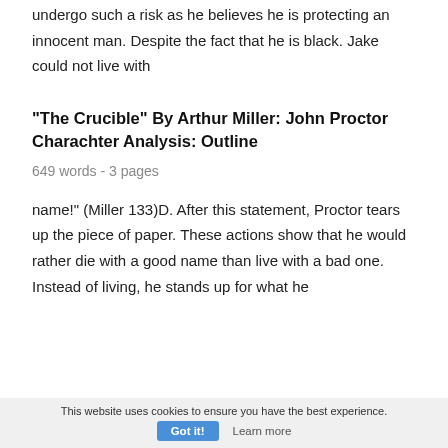undergo such a risk as he believes he is protecting an innocent man. Despite the fact that he is black. Jake could not live with
"The Crucible" By Arthur Miller: John Proctor Charachter Analysis: Outline
649 words - 3 pages
name!" (Miller 133)D. After this statement, Proctor tears up the piece of paper. These actions show that he would rather die with a good name than live with a bad one. Instead of living, he stands up for what he
This website uses cookies to ensure you have the best experience. Got it! Learn more